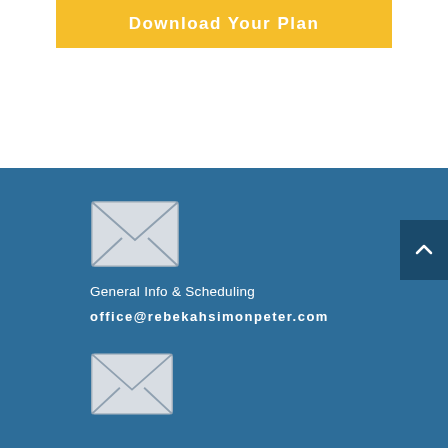Download Your Plan
[Figure (illustration): Email envelope icon, light gray on blue background]
General Info & Scheduling
office@rebekahsimonpeter.com
[Figure (illustration): Second email envelope icon, light gray on blue background]